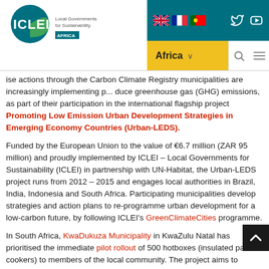[Figure (logo): ICLEI Local Governments for Sustainability Africa logo in top left]
ICLEI Africa website header with navigation bar showing Africa dropdown, flags, search and menu icons
wise actions through the Carbon Climate Registry municipalities are increasingly implementing p... duce greenhouse gas (GHG) emissions, as part of their participation in the international flagship project Promoting Low Emission Urban Development Strategies in Emerging Economy Countries (Urban-LEDS).
Funded by the European Union to the value of €6.7 million (ZAR 95 million) and proudly implemented by ICLEI – Local Governments for Sustainability (ICLEI) in partnership with UN-Habitat, the Urban-LEDS project runs from 2012 – 2015 and engages local authorities in Brazil, India, Indonesia and South Africa. Participating municipalities develop strategies and action plans to re-programme urban development for a low-carbon future, by following ICLEI's GreenClimateCities programme.
In South Africa, KwaDukuza Municipality in KwaZulu Natal has prioritised the immediate pilot rollout of 500 hotboxes (insulated passive cookers) to members of the local community. The project aims to support local citizens to reduce their energy consumption costs (and fire hazards